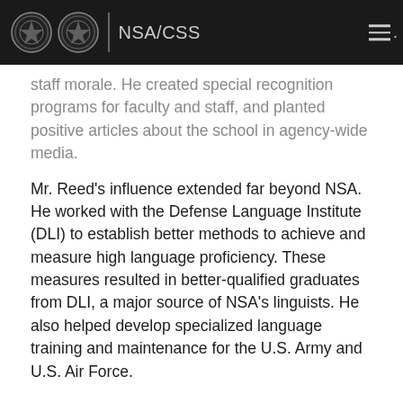NSA/CSS
staff morale. He created special recognition programs for faculty and staff, and planted positive articles about the school in agency-wide media.
Mr. Reed's influence extended far beyond NSA. He worked with the Defense Language Institute (DLI) to establish better methods to achieve and measure high language proficiency. These measures resulted in better-qualified graduates from DLI, a major source of NSA's linguists. He also helped develop specialized language training and maintenance for the U.S. Army and U.S. Air Force.
Many of his actions seem routine today, but were highly innovative then. White on Reed's described his